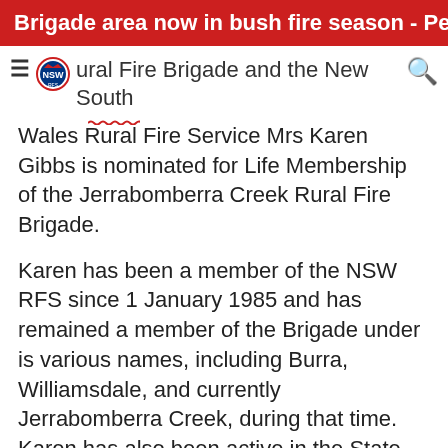Brigade area now in bush fire season - Permits Req...
For meritorious service to the Jerrabomberra Creek Rural Fire Brigade and the New South Wales Rural Fire Service Mrs Karen Gibbs is nominated for Life Membership of the Jerrabomberra Creek Rural Fire Brigade.
Karen has been a member of the NSW RFS since 1 January 1985 and has remained a member of the Brigade under is various names, including Burra, Williamsdale, and currently Jerrabomberra Creek, during that time. Karen has also been active in the State Emergency Service from 1983 till 1989. As well as sharing her time with our Brigade, Karen has supported her family members being part of...